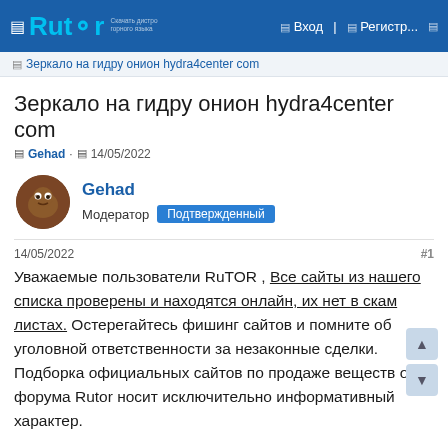Rutor — Вход — Регистр...
Зеркало на гидру онион hydra4center com
Зеркало на гидру онион hydra4center com
Gehad · 14/05/2022
Gehad
Модератор Подтвержденный
14/05/2022 · #1
Уважаемые пользователи RuTOR , Все сайты из нашего списка проверены и находятся онлайн, их нет в скам листах. Остерегайтесь фишинг сайтов и помните об уголовной ответственности за незаконные сделки. Подборка официальных сайтов по продаже веществ от форума Rutor носит исключительно информативный характер.